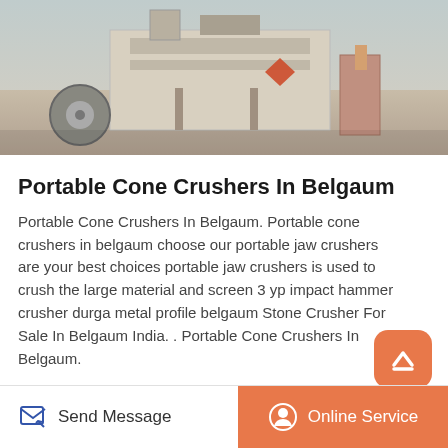[Figure (photo): Industrial portable cone crusher machine — large mechanical grinding/crushing equipment outdoors, concrete and metal machinery visible]
Portable Cone Crushers In Belgaum
Portable Cone Crushers In Belgaum. Portable cone crushers in belgaum choose our portable jaw crushers are your best choices portable jaw crushers is used to crush the large material and screen 3 yp impact hammer crusher durga metal profile belgaum Stone Crusher For Sale In Belgaum India. . Portable Cone Crushers In Belgaum.
Read More
Send Message | Online Service